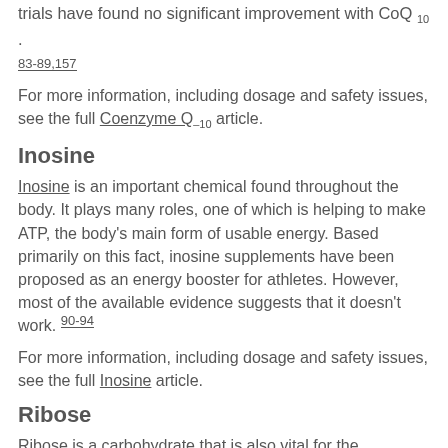trials have found no significant improvement with CoQ10 . 83-89,157
For more information, including dosage and safety issues, see the full Coenzyme Q-10 article.
Inosine
Inosine is an important chemical found throughout the body. It plays many roles, one of which is helping to make ATP, the body's main form of usable energy. Based primarily on this fact, inosine supplements have been proposed as an energy booster for athletes. However, most of the available evidence suggests that it doesn't work. 90-94
For more information, including dosage and safety issues, see the full Inosine article.
Ribose
Ribose is a carbohydrate that is also vital for the manufacture of ATP. Ribose has shown some promise for improving exercise capacity in people with certain enzyme